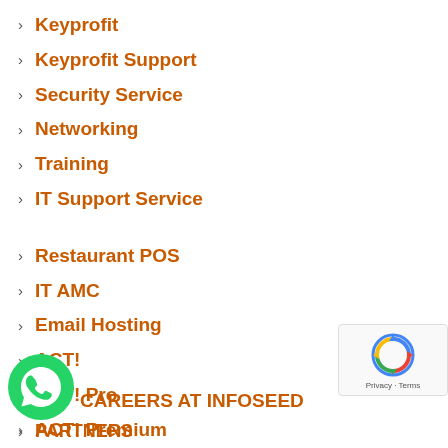Keyprofit
Keyprofit Support
Security Service
Networking
Training
IT Support Service
Restaurant POS
IT AMC
Email Hosting
ACT!
ACT! Pro
ACT! Premium
CAREERS AT INFOSEED
PARTNERS